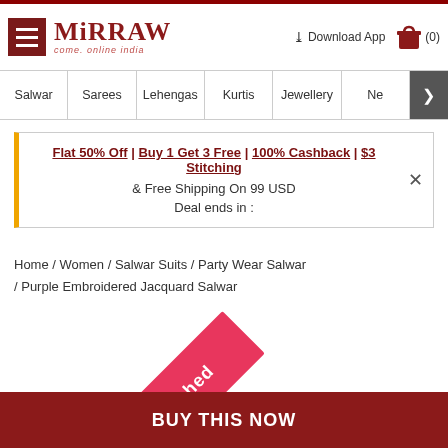Mirraw — come, online india
Salwar | Sarees | Lehengas | Kurtis | Jewellery | Ne >
Flat 50% Off | Buy 1 Get 3 Free | 100% Cashback | $3 Stitching & Free Shipping On 99 USD
Deal ends in :
Home / Women / Salwar Suits / Party Wear Salwar / Purple Embroidered Jacquard Salwar
[Figure (illustration): Diagonal pink/red ribbon banner with white text reading 'Unstitched']
BUY THIS NOW